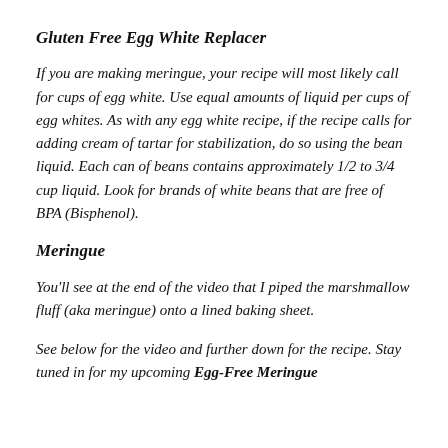Gluten Free Egg White Replacer
If you are making meringue, your recipe will most likely call for cups of egg white. Use equal amounts of liquid per cups of egg whites. As with any egg white recipe, if the recipe calls for adding cream of tartar for stabilization, do so using the bean liquid. Each can of beans contains approximately 1/2 to 3/4 cup liquid. Look for brands of white beans that are free of BPA (Bisphenol).
Meringue
You'll see at the end of the video that I piped the marshmallow fluff (aka meringue) onto a lined baking sheet.
See below for the video and further down for the recipe. Stay tuned in for my upcoming Egg-Free Meringue